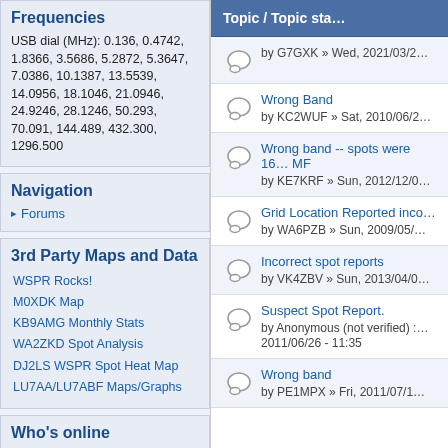Frequencies
USB dial (MHz): 0.136, 0.4742, 1.8366, 3.5686, 5.2872, 5.3647, 7.0386, 10.1387, 13.5539, 14.0956, 18.1046, 21.0946, 24.9246, 28.1246, 50.293, 70.091, 144.489, 432.300, 1296.500
Navigation
Forums
3rd Party Maps and Data
WSPR Rocks!
M0XDK Map
KB9AMG Monthly Stats
WA2ZKD Spot Analysis
DJ2LS WSPR Spot Heat Map
LU7AA/LU7ABF Maps/Graphs
Who's online
Topic / Topic sta…
by G7GXK » Wed, 2021/03/2…
Wrong Band
by KC2WUF » Sat, 2010/06/2…
Wrong band -- spots were 16… MF
by KE7KRF » Sun, 2012/12/0…
Grid Location Reported inco…
by WA6PZB » Sun, 2009/05/…
Incorrect spot reports
by VK4ZBV » Sun, 2013/04/0…
Suspect Spot Report.
by Anonymous (not verified) :… 2011/06/26 - 11:35
Wrong band
by PE1MPX » Fri, 2011/07/1…